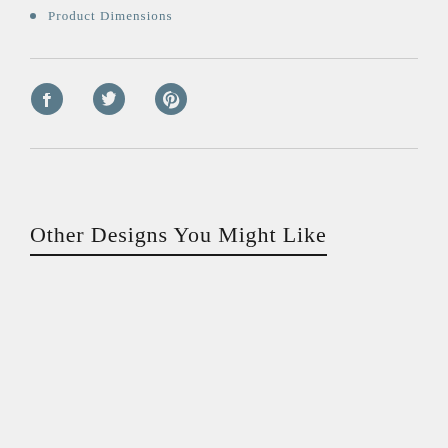Product Dimensions
[Figure (infographic): Social media share icons: Facebook, Twitter, Pinterest in slate blue color]
Other Designs You Might Like